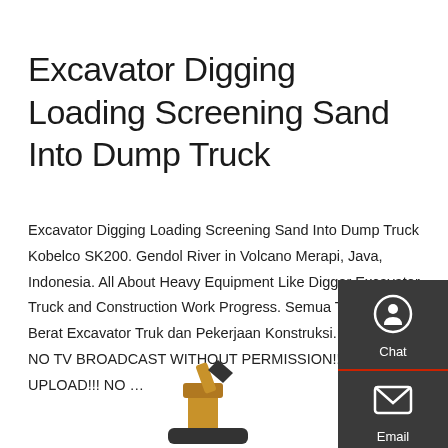Excavator Digging Loading Screening Sand Into Dump Truck
Excavator Digging Loading Screening Sand Into Dump Truck Kobelco SK200. Gendol River in Volcano Merapi, Java, Indonesia. All About Heavy Equipment Like Digger Excavator Truck and Construction Work Progress. Semua Tentang Alat Berat Excavator Truk dan Pekerjaan Konstruksi. WARNING NO TV BROADCAST WITHOUT PERMISSION!!! NO RE-UPLOAD!!! NO …
[Figure (other): Sidebar panel with Chat, Email, and Contact icons on dark grey background]
Get a quote
[Figure (photo): Partial image of an excavator at the bottom of the page]